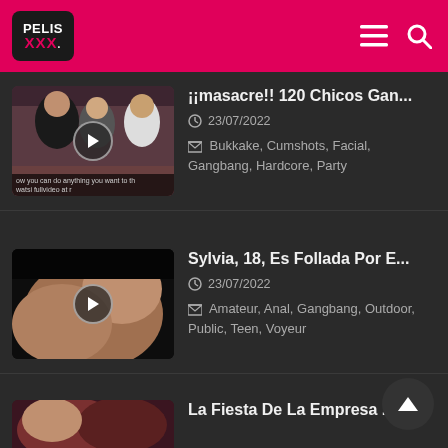PELIS XXX
¡¡masacre!! 120 Chicos Gan...
23/07/2022
Bukkake, Cumshots, Facial, Gangbang, Hardcore, Party
Sylvia, 18, Es Follada Por E...
23/07/2022
Amateur, Anal, Gangbang, Outdoor, Public, Teen, Voyeur
La Fiesta De La Empresa ...